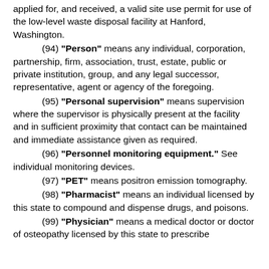applied for, and received, a valid site use permit for use of the low-level waste disposal facility at Hanford, Washington.
(94) "Person" means any individual, corporation, partnership, firm, association, trust, estate, public or private institution, group, and any legal successor, representative, agent or agency of the foregoing.
(95) "Personal supervision" means supervision where the supervisor is physically present at the facility and in sufficient proximity that contact can be maintained and immediate assistance given as required.
(96) "Personnel monitoring equipment." See individual monitoring devices.
(97) "PET" means positron emission tomography.
(98) "Pharmacist" means an individual licensed by this state to compound and dispense drugs, and poisons.
(99) "Physician" means a medical doctor or doctor of osteopathy licensed by this state to prescribe and dispense drugs, the practice of medicine,